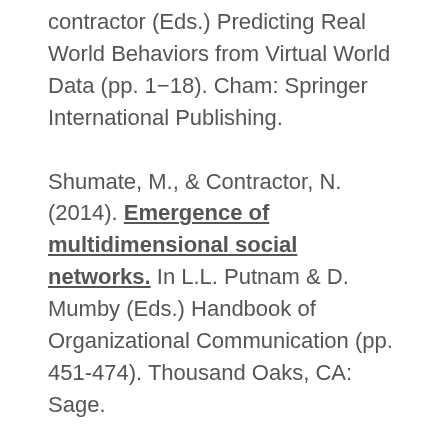contractor (Eds.) Predicting Real World Behaviors from Virtual World Data (pp. 1−18). Cham: Springer International Publishing.
Shumate, M., & Contractor, N. (2014). Emergence of multidimensional social networks. In L.L. Putnam & D. Mumby (Eds.) Handbook of Organizational Communication (pp. 451-474). Thousand Oaks, CA: Sage.
Whalen, R. (2013). Modeling annual Supreme Court influence: The role of citation practices and judicial tenure in determining precedent network growth. In A. Evsukoff, M. C. Gonzalez & R. Menezes (Eds.), Complex Networks (pp. 169-176): Springer Berlin Heidelberg.